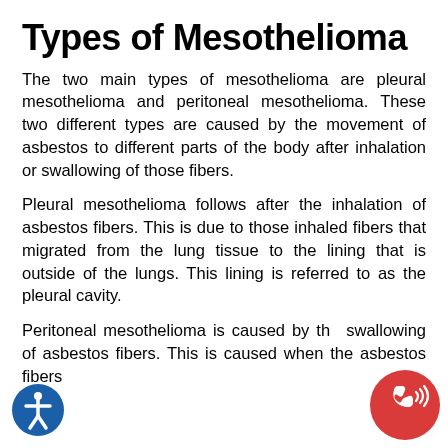Types of Mesothelioma
The two main types of mesothelioma are pleural mesothelioma and peritoneal mesothelioma. These two different types are caused by the movement of asbestos to different parts of the body after inhalation or swallowing of those fibers.
Pleural mesothelioma follows after the inhalation of asbestos fibers. This is due to those inhaled fibers that migrated from the lung tissue to the lining that is outside of the lungs. This lining is referred to as the pleural cavity.
Peritoneal mesothelioma is caused by the swallowing of asbestos fibers. This is caused when the asbestos fibers
[Figure (illustration): Blue circle with white accessibility (person in circle) icon, bottom-left corner]
[Figure (illustration): Red circle with white phone/call icon with signal waves, bottom-right corner]